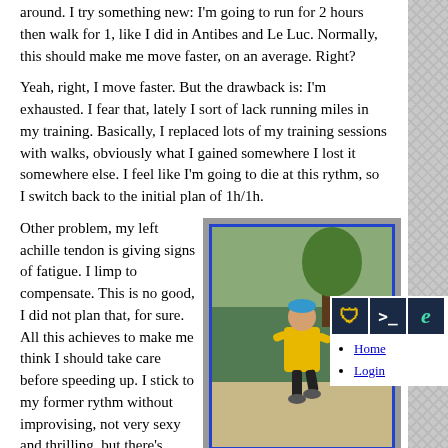around. I try something new: I'm going to run for 2 hours then walk for 1, like I did in Antibes and Le Luc. Normally, this should make me move faster, on an average. Right?
Yeah, right, I move faster. But the drawback is: I'm exhausted. I fear that, lately I sort of lack running miles in my training. Basically, I replaced lots of my training sessions with walks, obviously what I gained somewhere I lost it somewhere else. I feel like I'm going to die at this rythm, so I switch back to the initial plan of 1h/1h.
Other problem, my left achille tendon is giving signs of fatigue. I limp to compensate. This is no good, I did not plan that, for sure. All this achieves to make me think I should take care before speeding up. I stick to my former rythm without improvising, not very sexy and thrilling, but there's some time to race left, and I want to be abl
[Figure (photo): A runner in a yellow jacket and dark shorts running on a path, with trees and a green fence in the background]
Did I ever tell you yellow is color?